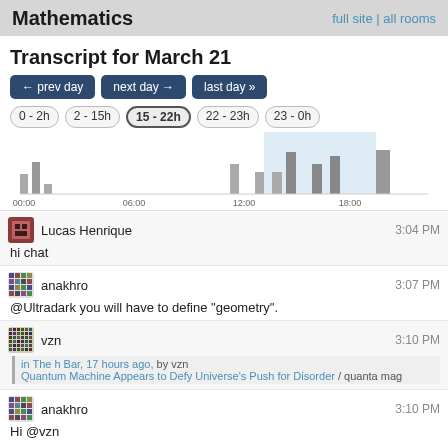Mathematics  full site | all rooms
Transcript for March 21
← prev day
next day →
last day »
0 - 2h
2 - 15h
15 - 22h
22 - 23h
23 - 0h
[Figure (bar-chart): Activity by hour]
Lucas Henrique  3:04 PM
hi chat
anakhro  3:07 PM
@Ultradark you will have to define "geometry".
vzn  3:10 PM
in The h Bar, 17 hours ago, by vzn
Quantum Machine Appears to Defy Universe's Push for Disorder / quanta mag
anakhro  3:10 PM
Hi @vzn